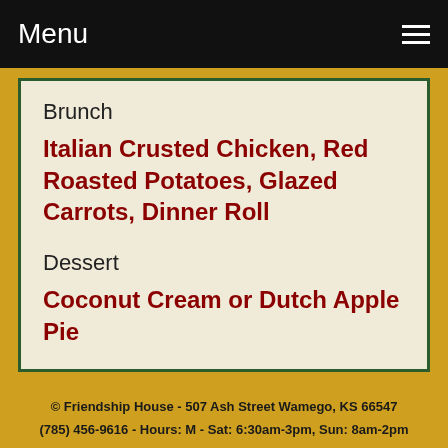Menu
Brunch
Italian Crusted Chicken, Red Roasted Potatoes, Glazed Carrots, Dinner Roll
Dessert
Coconut Cream or Dutch Apple Pie
© Friendship House - 507 Ash Street Wamego, KS 66547
(785) 456-9616 - Hours: M - Sat: 6:30am-3pm, Sun: 8am-2pm
[Figure (logo): Facebook and Twitter social media icons]